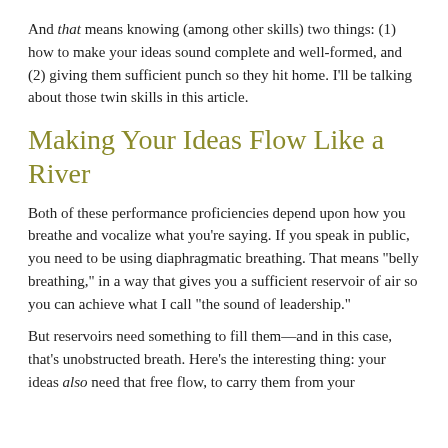And that means knowing (among other skills) two things: (1) how to make your ideas sound complete and well-formed, and (2) giving them sufficient punch so they hit home. I'll be talking about those twin skills in this article.
Making Your Ideas Flow Like a River
Both of these performance proficiencies depend upon how you breathe and vocalize what you're saying. If you speak in public, you need to be using diaphragmatic breathing. That means "belly breathing," in a way that gives you a sufficient reservoir of air so you can achieve what I call "the sound of leadership."
But reservoirs need something to fill them—and in this case, that's unobstructed breath. Here's the interesting thing: your ideas also need that free flow, to carry them from your